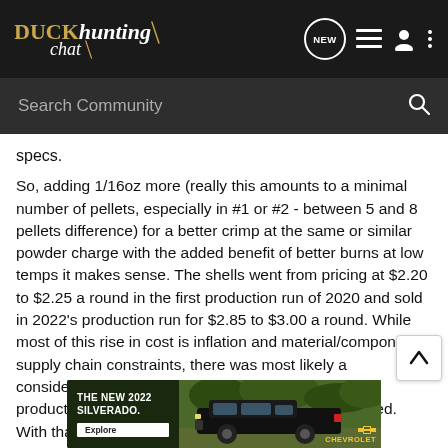Duck hunting chat — navigation bar with NEW, list, user, and menu icons
specs.
So, adding 1/16oz more (really this amounts to a minimal number of pellets, especially in #1 or #2 - between 5 and 8 pellets difference) for a better crimp at the same or similar powder charge with the added benefit of better burns at low temps it makes sense. The shells went from pricing at $2.20 to $2.25 a round in the first production run of 2020 and sold in 2022's production run for $2.85 to $3.00 a round. While most of this rise in cost is inflation and material/component supply chain constraints, there was most likely a consideration for "balancing" the payload for better production and with minimal increase in materials used. With that considered, it makes sense.
[Figure (screenshot): Chevrolet 2022 Silverado advertisement banner showing truck image with 'THE NEW 2022 SILVERADO.' text, Explore button, and Chevrolet logo]